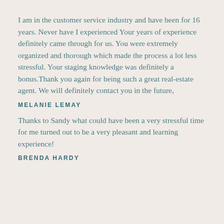I am in the customer service industry and have been for 16 years. Never have I experienced Your years of experience definitely came through for us. You were extremely organized and thorough which made the process a lot less stressful. Your staging knowledge was definitely a bonus.Thank you again for being such a great real-estate agent. We will definitely contact you in the future,
MELANIE LEMAY
Thanks to Sandy what could have been a very stressful time for me turned out to be a very pleasant and learning experience!
BRENDA HARDY